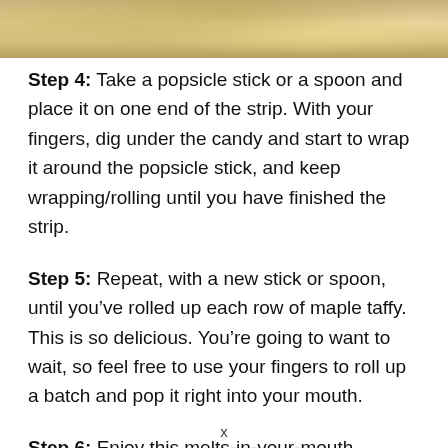[Figure (photo): Close-up photo of golden/amber colored maple taffy candy, showing its texture]
Step 4: Take a popsicle stick or a spoon and place it on one end of the strip. With your fingers, dig under the candy and start to wrap it around the popsicle stick, and keep wrapping/rolling until you have finished the strip.
Step 5: Repeat, with a new stick or spoon, until you’ve rolled up each row of maple taffy. This is so delicious. You’re going to want to wait, so feel free to use your fingers to roll up a batch and pop it right into your mouth.
Step 6: Enjoy this melts-in-your-mouth delicious
x